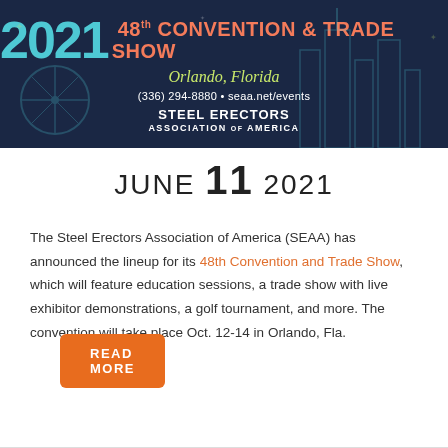[Figure (illustration): 2021 48th Convention & Trade Show banner for Steel Erectors Association of America, Orlando Florida. Dark navy blue background with city skyline silhouette. Shows '2021' in large teal text, '48th CONVENTION & TRADE SHOW' in orange/white, 'Orlando, Florida' in script, phone number (336) 294-8880 and seaa.net/events, and STEEL ERECTORS ASSOCIATION OF AMERICA logo.]
JUNE 11 2021
The Steel Erectors Association of America (SEAA) has announced the lineup for its 48th Convention and Trade Show, which will feature education sessions, a trade show with live exhibitor demonstrations, a golf tournament, and more. The convention will take place Oct. 12-14 in Orlando, Fla.
READ MORE